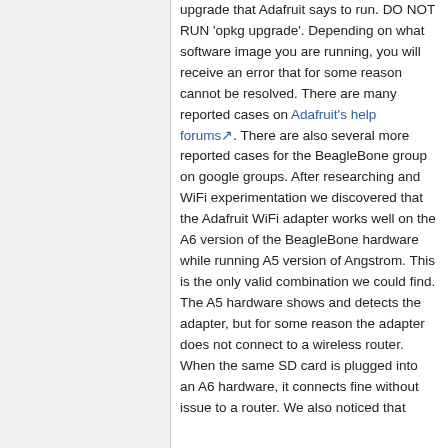upgrade that Adafruit says to run. DO NOT RUN 'opkg upgrade'. Depending on what software image you are running, you will receive an error that for some reason cannot be resolved. There are many reported cases on Adafruit's help forums. There are also several more reported cases for the BeagleBone group on google groups. After researching and WiFi experimentation we discovered that the Adafruit WiFi adapter works well on the A6 version of the BeagleBone hardware while running A5 version of Angstrom. This is the only valid combination we could find. The A5 hardware shows and detects the adapter, but for some reason the adapter does not connect to a wireless router. When the same SD card is plugged into an A6 hardware, it connects fine without issue to a router. We also noticed that